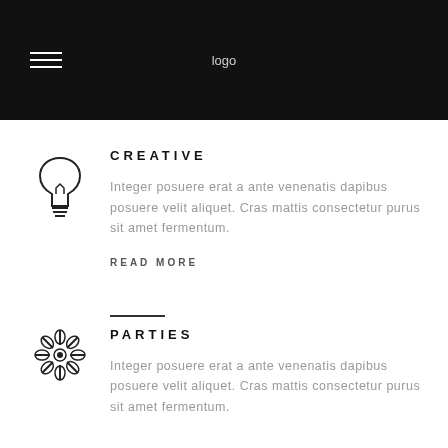logo
[Figure (illustration): Lightbulb outline icon]
CREATIVE
Integer posuere erat a ante venenatis dapibus posuere velit aliquet. Cras mattis consectetur purus sit amet fermentum.
READ MORE
[Figure (illustration): Flower/snowflake decorative icon]
PARTIES
Integer posuere erat a ante venenatis dapibus posuere velit aliquet. Cras mattis consectetur purus sit amet fermentum.